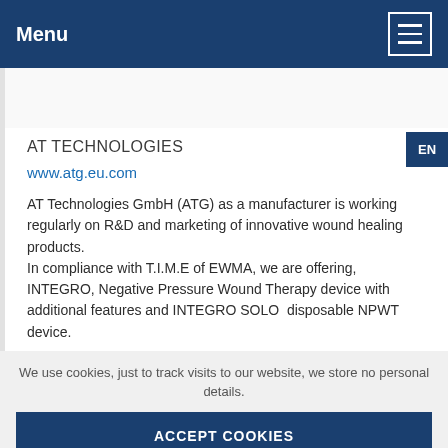Menu
AT TECHNOLOGIES
www.atg.eu.com
AT Technologies GmbH (ATG) as a manufacturer is working regularly on R&D and marketing of innovative wound healing products.
In compliance with T.I.M.E of EWMA, we are offering, INTEGRO, Negative Pressure Wound Therapy device with additional features and INTEGRO SOLO  disposable NPWT device.
We use cookies, just to track visits to our website, we store no personal details.
ACCEPT COOKIES
What are cookies?